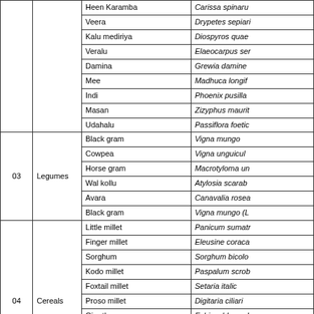| No. | Category | Common Name | Scientific Name |
| --- | --- | --- | --- |
|  |  | Heen Karamba | Carissa spinarum |
|  |  | Veera | Drypetes sepiaria |
|  |  | Kalu mediriya | Diospyros quaesita |
|  |  | Veralu | Elaeocarpus serratus |
|  |  | Damina | Grewia damine |
|  |  | Mee | Madhuca longifolia |
|  |  | Indi | Phoenix pusilla |
|  |  | Masan | Zizyphus mauritiana |
|  |  | Udahalu | Passiflora foetida |
| 03 | Legumes | Black gram | Vigna mungo |
| 03 | Legumes | Cowpea | Vigna unguiculata |
| 03 | Legumes | Horse gram | Macrotyloma uniflorum |
| 03 | Legumes | Wal kollu | Atylosia scarabaeoides |
| 03 | Legumes | Avara | Canavalia rosea |
| 03 | Legumes | Black gram | Vigna mungo (L.) |
| 04 | Cereals | Little millet | Panicum sumatrense |
| 04 | Cereals | Finger millet | Eleusine coracana |
| 04 | Cereals | Sorghum | Sorghum bicolor |
| 04 | Cereals | Kodo millet | Paspalum scrobiculatum |
| 04 | Cereals | Foxtail millet | Setaria italic |
| 04 | Cereals | Proso millet | Digitaria ciliaris |
| 04 | Cereals | Gira thana | Echinochloa colonum |
| 04 | Cereals | Ahu | Hygroryza |
| 04 | Cereals | Perl millet | Pennisetum glaucum |
| 04 | Cereals | Heen meneri | Panicum sumatrense |
| 04 | Cereals | Thana hal | Setaria italic |
| 05 | Oilseeds | Groundnut | Arachis hypogaea |
| 05 | Oilseeds | Soybean | Glycine max |
| 05 | Oilseeds | Sesame / Gingili | Sesamum indicum |
| 05 | Oilseeds | Mustard | Brassica juncea |
|  |  | Sweet potato | Ipomoea batatas |